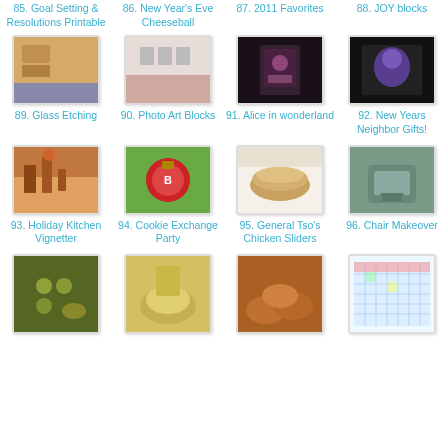85. Goal Setting & Resolutions Printable
86. New Year's Eve Cheeseball
87. 2011 Favorites
88. JOY blocks
[Figure (photo): Photo thumbnail for item 89 Glass Etching]
89. Glass Etching
[Figure (photo): Photo thumbnail for item 90 Photo Art Blocks]
90. Photo Art Blocks
[Figure (photo): Photo thumbnail for item 91 Alice in wonderland]
91. Alice in wonderland
[Figure (photo): Photo thumbnail for item 92 New Years Neighbor Gifts!]
92. New Years Neighbor Gifts!
[Figure (photo): Photo thumbnail for item 93 Holiday Kitchen Vignetter]
93. Holiday Kitchen Vignetter
[Figure (photo): Photo thumbnail for item 94 Cookie Exchange Party]
94. Cookie Exchange Party
[Figure (photo): Photo thumbnail for item 95 General Tso's Chicken Sliders]
95. General Tso's Chicken Sliders
[Figure (photo): Photo thumbnail for item 96 Chair Makeover]
96. Chair Makeover
[Figure (photo): Photo thumbnail for item 97]
[Figure (photo): Photo thumbnail for item 98]
[Figure (photo): Photo thumbnail for item 99]
[Figure (photo): Photo thumbnail for item 100]